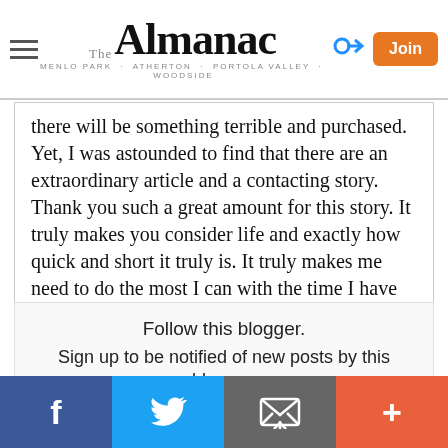The Almanac — Menlo Park · Atherton · Portola Valley · Woodside
there will be something terrible and purchased. Yet, I was astounded to find that there are an extraordinary article and a contacting story. Thank you such a great amount for this story. It truly makes you consider life and exactly how quick and short it truly is. It truly makes me need to do the most I can with the time I have here.
Web Link

Report Objectionable Content
Follow this blogger.
Sign up to be notified of new posts by this blogger.
Email: Your email address